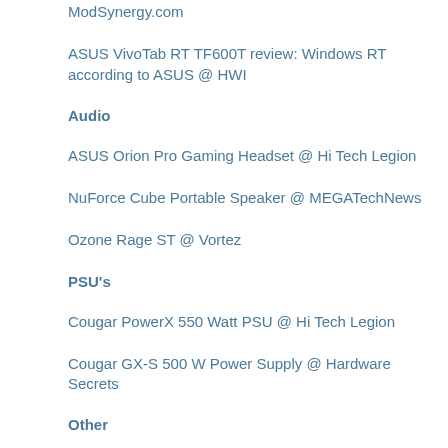ModSynergy.com
ASUS VivoTab RT TF600T review: Windows RT according to ASUS @ HWI
Audio
ASUS Orion Pro Gaming Headset @ Hi Tech Legion
NuForce Cube Portable Speaker @ MEGATechNews
Ozone Rage ST @ Vortez
PSU's
Cougar PowerX 550 Watt PSU @ Hi Tech Legion
Cougar GX-S 500 W Power Supply @ Hardware Secrets
Other
Samsung Series 7 All-in-one PC 700A3D @ HWI